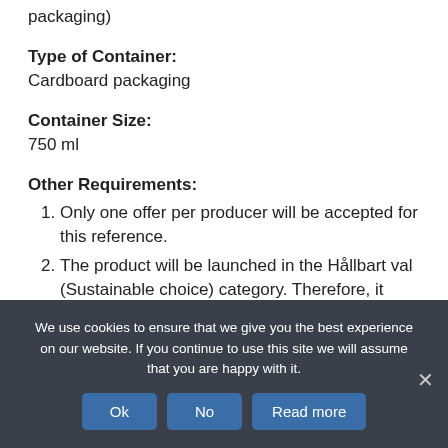10000 litres (Volume: 6ml-750 ml, Cardboard packaging)
Type of Container:
Cardboard packaging
Container Size:
750 ml
Other Requirements:
Only one offer per producer will be accepted for this reference.
The product will be launched in the Hållbart val (Sustainable choice) category. Therefore, it must meet the requirements for it (Organic or Sustainable certification, packaging with a lower
We use cookies to ensure that we give you the best experience on our website. If you continue to use this site we will assume that you are happy with it.